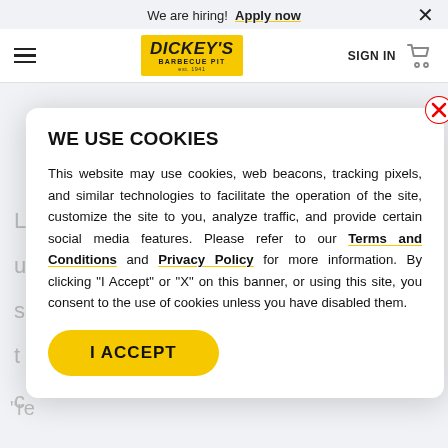We are hiring! Apply now ×
[Figure (logo): Dickey's Barbecue Pit logo — yellow background with italic bold text]
WE USE COOKIES
This website may use cookies, web beacons, tracking pixels, and similar technologies to facilitate the operation of the site, customize the site to you, analyze traffic, and provide certain social media features. Please refer to our Terms and Conditions and Privacy Policy for more information. By clicking "I Accept" or "X" on this banner, or using this site, you consent to the use of cookies unless you have disabled them.
I ACCEPT